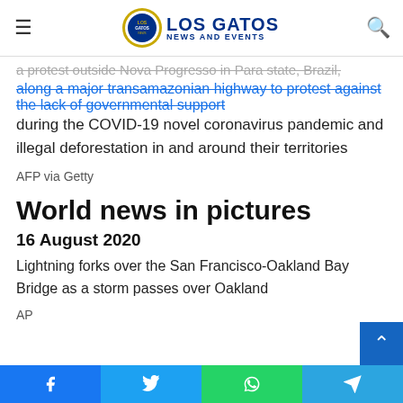Los Gatos News and Events
a protest outside Nova Progresso in Para state, Brazil, along a major transamazonian highway to protest against the lack of governmental support during the COVID-19 novel coronavirus pandemic and illegal deforestation in and around their territories
AFP via Getty
World news in pictures
16 August 2020
Lightning forks over the San Francisco-Oakland Bay Bridge as a storm passes over Oakland
AP